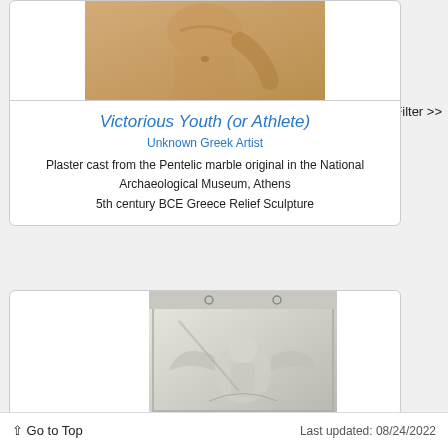[Figure (photo): Tan/beige plaster cast sculpture of a youth torso, upper body visible]
≡ Open Filter >>
Victorious Youth (or Athlete)
Unknown Greek Artist
Plaster cast from the Pentelic marble original in the National Archaeological Museum, Athens
5th century BCE Greece Relief Sculpture
[Figure (photo): White/grey plaster relief sculpture showing a winged figure, partial view]
↑ Go to Top    Last updated: 08/24/2022